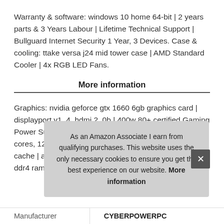Warranty & software: windows 10 home 64-bit | 2 years parts & 3 Years Labour | Lifetime Technical Support | Bullguard Internet Security 1 Year, 3 Devices. Case & cooling: ttake versa j24 mid tower case | AMD Standard Cooler | 4x RGB LED Fans.
More information
Graphics: nvidia geforce gtx 1660 6gb graphics card | displayport v1. 4, hdmi 2. 0b | 400w 80+ certified Gaming Power Supply. System: amd ryzen 5 2600 processor 6 cores, 12 threads, 3. 4ghz base, 3. 9ghz turbo, 16mb cache | amd a320 chipset motherboard | 8qb 2400mhz ddr4 ram | 240GB SAT
As an Amazon Associate I earn from qualifying purchases. This website uses the only necessary cookies to ensure you get the best experience on our website. More information
| Manufacturer |  |
| --- | --- |
| Manufacturer | CYBERPOWERPC |